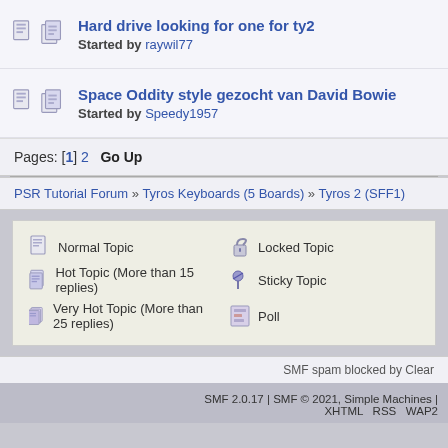Hard drive looking for one for ty2 — Started by raywil77
Space Oddity style gezocht van David Bowie — Started by Speedy1957
Pages: [1] 2  Go Up
PSR Tutorial Forum » Tyros Keyboards (5 Boards) » Tyros 2 (SFF1)
Normal Topic | Hot Topic (More than 15 replies) | Very Hot Topic (More than 25 replies) | Locked Topic | Sticky Topic | Poll
SMF spam blocked by Clear
SMF 2.0.17 | SMF © 2021, Simple Machines | XHTML  RSS  WAP2